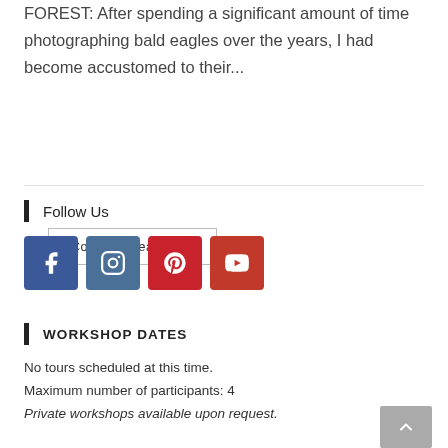FOREST: After spending a significant amount of time photographing bald eagles over the years, I had become accustomed to their...
Continue Reading ›
Follow Us
[Figure (infographic): Four social media icon buttons: Facebook (blue), Instagram (steel blue), Pinterest (red), YouTube (red)]
WORKSHOP DATES
No tours scheduled at this time.
Maximum number of participants: 4
Private workshops available upon request.